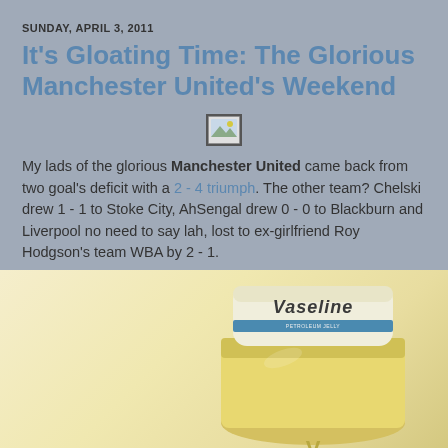SUNDAY, APRIL 3, 2011
It's Gloating Time: The Glorious Manchester United's Weekend
[Figure (photo): Broken image placeholder icon]
My lads of the glorious Manchester United came back from two goal's deficit with a 2 - 4 triumph. The other team? Chelski drew 1 - 1 to Stoke City, AhSengal drew 0 - 0 to Blackburn and Liverpool no need to say lah, lost to ex-girlfriend Roy Hodgson's team WBA by 2 - 1.
[Figure (photo): Photograph of a Vaseline petroleum jelly jar, partially cropped, shown on a warm cream/yellow background]